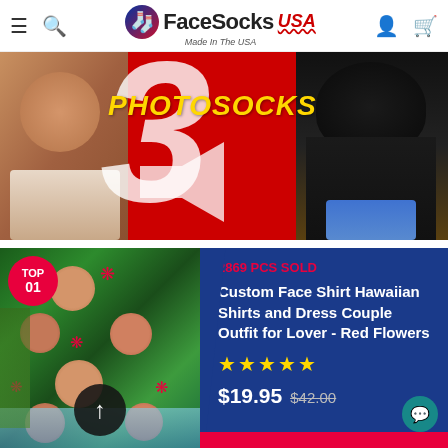FaceSocks USA - Made In The USA
[Figure (photo): Hero banner with red background showing 'PHOTOSOCKS' text, a large number, person with custom socks on left, and a black dog wearing socks on the right]
[Figure (photo): Product photo of a Hawaiian shirt with custom face print showing red flowers pattern]
TOP 01
2869 PCS SOLD
Custom Face Shirt Hawaiian Shirts and Dress Couple Outfit for Lover - Red Flowers
★★★★★
$19.95 $42.00